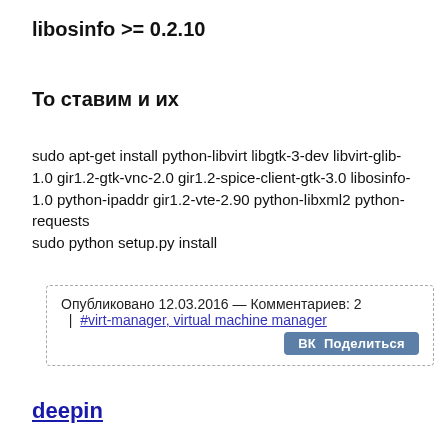libosinfo >= 0.2.10
То ставим и их
sudo apt-get install python-libvirt libgtk-3-dev libvirt-glib-1.0 gir1.2-gtk-vnc-2.0 gir1.2-spice-client-gtk-3.0 libosinfo-1.0 python-ipaddr gir1.2-vte-2.90 python-libxml2 python-requests
sudo python setup.py install
Опубликовано 12.03.2016 — Комментариев: 2 | #virt-manager, virtual machine manager
deepin